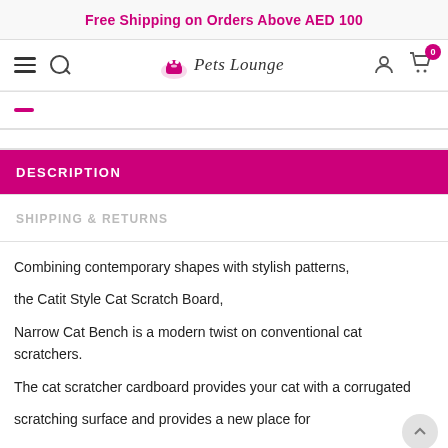Free Shipping on Orders Above AED 100
[Figure (logo): Pets Lounge logo with a pet in a bathtub icon and stylized script text]
DESCRIPTION
SHIPPING & RETURNS
Combining contemporary shapes with stylish patterns,
the Catit Style Cat Scratch Board,
Narrow Cat Bench is a modern twist on conventional cat scratchers.
The cat scratcher cardboard provides your cat with a corrugated
scratching surface and provides a new place for